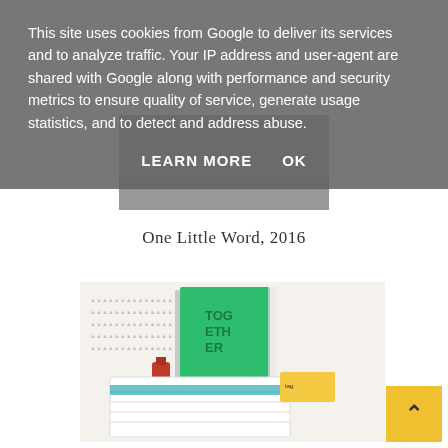[Figure (photo): Partially visible photo at top of page, covered by cookie banner. Shows a grey/neutral textured surface.]
This site uses cookies from Google to deliver its services and to analyze traffic. Your IP address and user-agent are shared with Google along with performance and security metrics to ensure quality of service, generate usage statistics, and to detect and address abuse.
LEARN MORE    OK
One Little Word, 2016
[Figure (photo): Photo showing a flat lay of stationery items including a green notebook/journal with 'TOGETHER' printed on the cover, planner pages, nail polish, and other craft/planning supplies on a white patterned background.]